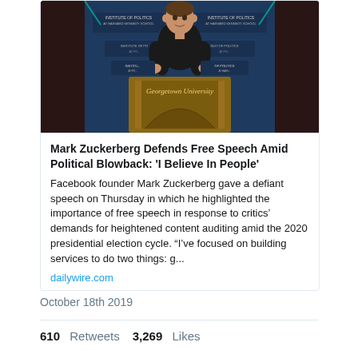[Figure (photo): Mark Zuckerberg speaking at a Georgetown University podium in front of an 'Institute of Politics' backdrop, wearing a dark sweater]
Mark Zuckerberg Defends Free Speech Amid Political Blowback: 'I Believe In People'
Facebook founder Mark Zuckerberg gave a defiant speech on Thursday in which he highlighted the importance of free speech in response to critics&#8217; demands for heightened content auditing amid the 2020 presidential election cycle. &#8220;I&#8217;ve focused on building services to do two things: g...
dailywire.com
October 18th 2019
610 Retweets  3,269 Likes